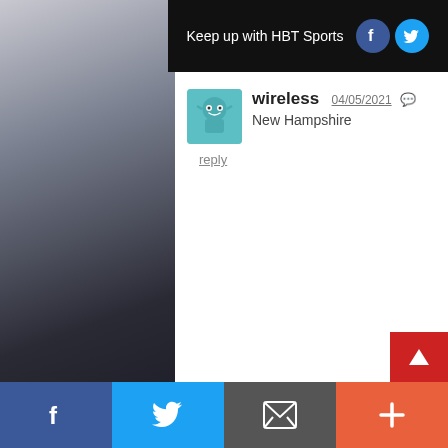Keep up with HBT Sports
2. wireless | New Hampshire | 04/05/2021
reply
STAY IN THE KNOW
Follow HBT Sports!
Facebook
Twitter
PODCASTS
Facebook | Twitter | Mail | +